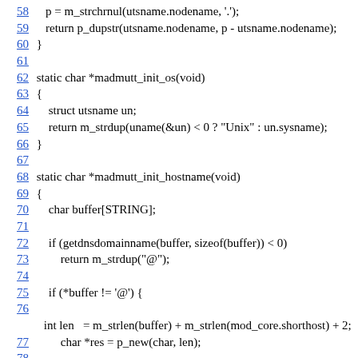58    p = m_strchrnul(utsname.nodename, '.');
59    return p_dupstr(utsname.nodename, p - utsname.nodename);
60 }
61
62 static char *madmutt_init_os(void)
63 {
64     struct utsname un;
65     return m_strdup(uname(&un) < 0 ? "Unix" : un.sysname);
66 }
67
68 static char *madmutt_init_hostname(void)
69 {
70     char buffer[STRING];
71
72     if (getdnsdomainname(buffer, sizeof(buffer)) < 0)
73         return m_strdup("@");
74
75     if (*buffer != '@') {
76
int len   = m_strlen(buffer) + m_strlen(mod_core.shorthost) + 2;
77         char *res = p_new(char, len);
78
snprintf(res, len, "%s.%s", NONULL(mod_core.shorthost), buf
79         return res;
80     }